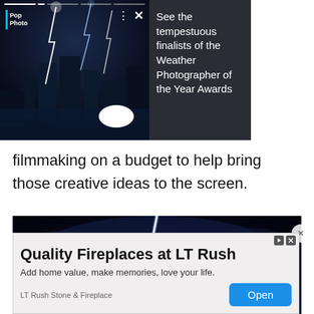[Figure (screenshot): Pop Photo branded popup overlay showing a lightning storm over a city skyline at night, with progress bar, vertical dots menu, X close button, and a white oval play button. Right panel shows dark background with text.]
See the tempestuous finalists of the Weather Photographer of the Year Awards
filmmaking on a budget to help bring those creative ideas to the screen.
[Figure (photo): Dark night sky photograph with dramatic lightning strikes visible against dark blue-black clouds]
[Figure (screenshot): Advertisement banner for Quality Fireplaces at LT Rush. Text: Add home value, make memories, love your life. LT Rush Stone & Fireplace. Open button.]